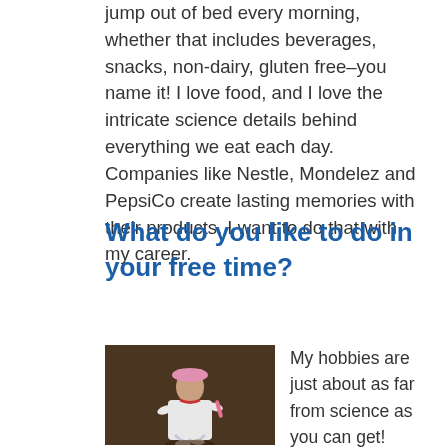jump out of bed every morning, whether that includes beverages, snacks, non-dairy, gluten free–you name it! I love food, and I love the intricate science details behind everything we eat each day. Companies like Nestle, Mondelez and PepsiCo create lasting memories with their products. I want to do that with my career.
What do you like to do in your free time?
[Figure (photo): A person in a white coat and pink hat dancing or performing, with a dark background.]
My hobbies are just about as far from science as you can get! Along with food, my other